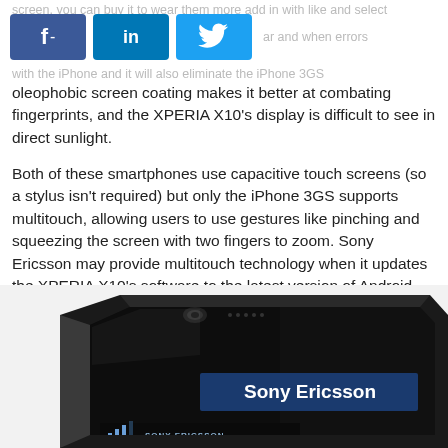[Figure (other): Social media share buttons: Facebook (f-), LinkedIn (in), Twitter (bird icon)]
oleophobic screen coating makes it better at combating fingerprints, and the XPERIA X10's display is difficult to see in direct sunlight.
Both of these smartphones use capacitive touch screens (so a stylus isn't required) but only the iPhone 3GS supports multitouch, allowing users to use gestures like pinching and squeezing the screen with two fingers to zoom. Sony Ericsson may provide multitouch technology when it updates the XPERIA X10's software to the latest version of Android, but this is still unconfirmed. Though a lack of multitouch isn't a deal-breaker, its presence makes the iPhone better for browsing the Web, scrolling through photos and using applications like Google Maps.
[Figure (photo): Photo of a Sony Ericsson XPERIA X10 smartphone, angled view showing the front screen displaying 'Sony Ericsson' branding and signal bars, dark/black device on white background.]